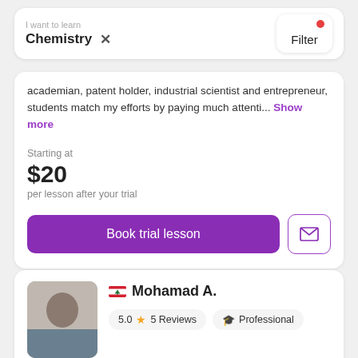I want to learn
Chemistry ×
Filter
academian, patent holder, industrial scientist and entrepreneur, students match my efforts by paying much attenti... Show more
Starting at
$20
per lesson after your trial
Book trial lesson
Mohamad A.
5.0 ★ 5 Reviews
Professional